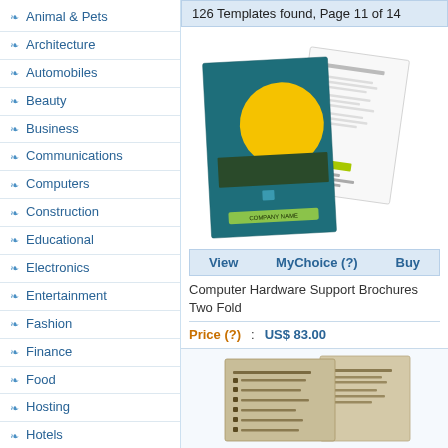Animal & Pets
Architecture
Automobiles
Beauty
Business
Communications
Computers
Construction
Educational
Electronics
Entertainment
Fashion
Finance
Food
Hosting
Hotels
Industrial
Internet
126 Templates found, Page 11 of 14
[Figure (photo): Computer Hardware Support Brochures Two Fold product image - shows a teal/blue folded brochure with yellow circle design and a white text sheet]
View   MyChoice (?)   Buy
Computer Hardware Support Brochures Two Fold
Price (?) : US$ 83.00
[Figure (photo): Second product brochure image - shows beige/cream colored folded brochures]